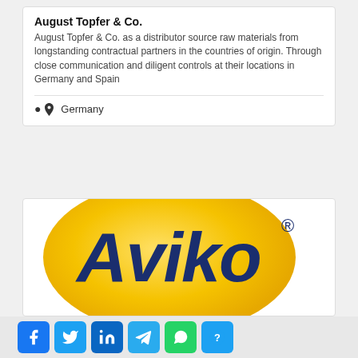August Topfer & Co.
August Topfer & Co. as a distributor source raw materials from longstanding contractual partners in the countries of origin. Through close communication and diligent controls at their locations in Germany and Spain
Germany
[Figure (logo): Aviko logo — yellow oval with dark blue italic text 'Aviko' and registered trademark symbol]
[Figure (infographic): Social media sharing bar with icons for Facebook, Twitter, LinkedIn, Telegram, WhatsApp, and a help/question button]